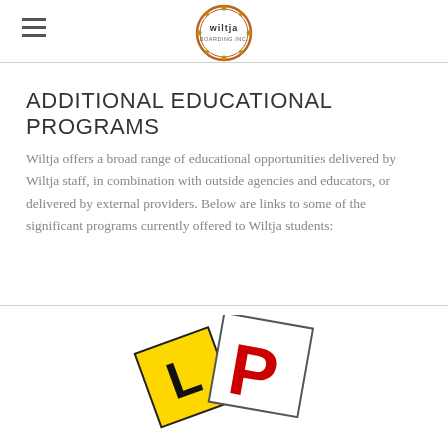wiltja boarding inc. logo
ADDITIONAL EDUCATIONAL PROGRAMS
Wiltja offers a broad range of educational opportunities delivered by Wiltja staff, in combination with outside agencies and educators, or delivered by external providers. Below are links to some of the significant programs currently offered to Wiltja students:
[Figure (photo): P-plate and L-plate learner/provisional driver signs overlapping on a white background]